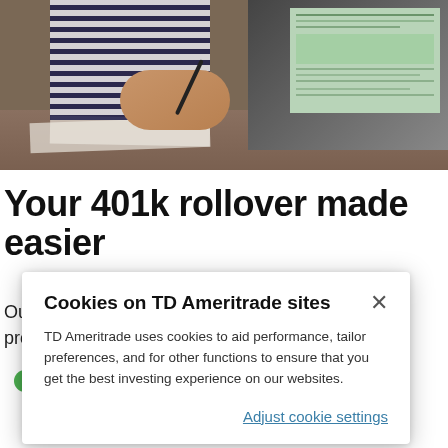[Figure (photo): Person in striped shirt sitting at desk writing, with laptop open showing charts/spreadsheet in background. Photo cropped showing upper body and hands.]
Your 401k rollover made easier
Our rollover specialists can walk you through the process from start to finish, provide an overview of
Cookies on TD Ameritrade sites
TD Ameritrade uses cookies to aid performance, tailor preferences, and for other functions to ensure that you get the best investing experience on our websites.
Adjust cookie settings